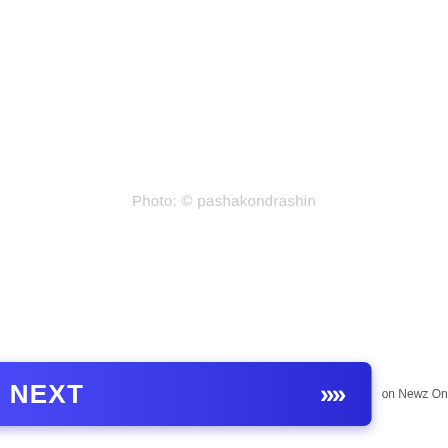Photo: © pashakondrashin
[Figure (screenshot): A blue gradient 'NEXT' button with double chevron arrows on the right side, and 'on Newz Online' text to the right of the button.]